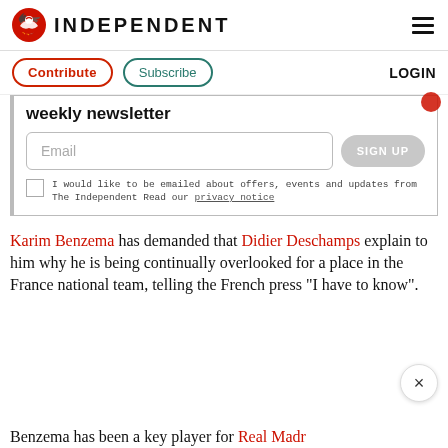INDEPENDENT
Contribute  Subscribe  LOGIN
weekly newsletter
Email  SIGN UP
I would like to be emailed about offers, events and updates from The Independent Read our privacy notice
Karim Benzema has demanded that Didier Deschamps explain to him why he is being continually overlooked for a place in the France national team, telling the French press “I have to know”.
Benzema has been a key player for Real Madr…